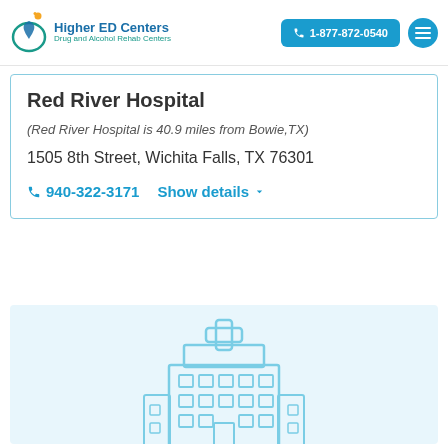Higher ED Centers — Drug and Alcohol Rehab Centers | 1-877-872-0540
Red River Hospital
(Red River Hospital is 40.9 miles from Bowie,TX)
1505 8th Street, Wichita Falls, TX 76301
940-322-3171   Show details
[Figure (illustration): Light blue illustration of a hospital building with a cross symbol on top]